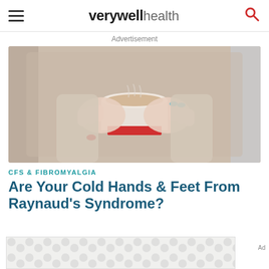verywell health
Advertisement
[Figure (photo): Close-up of two hands wearing knit mittens/gloves holding a cup of warm beverage, with painted fingernails visible (blue on one hand, red on the other).]
CFS & FIBROMYALGIA
Are Your Cold Hands & Feet From Raynaud's Syndrome?
[Figure (other): Advertisement banner with grey circular dot pattern background.]